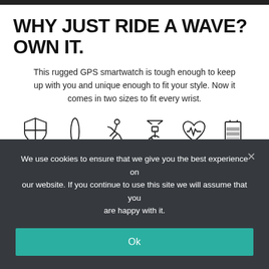WHY JUST RIDE A WAVE? OWN IT.
This rugged GPS smartwatch is tough enough to keep up with you and unique enough to fit your style. Now it comes in two sizes to fit every wrist.
[Figure (infographic): Six icons representing product features: shield (This), surfboard (Do), running figure (Train), satellite (Push), heart monitor (Understand), battery (Don't)]
We use cookies to ensure that we give you the best experience on our website. If you continue to use this site we will assume that you are happy with it.